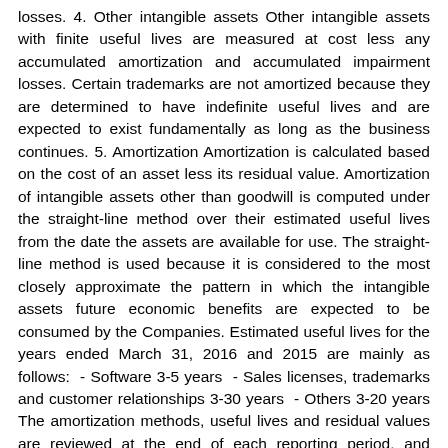losses. 4. Other intangible assets Other intangible assets with finite useful lives are measured at cost less any accumulated amortization and accumulated impairment losses. Certain trademarks are not amortized because they are determined to have indefinite useful lives and are expected to exist fundamentally as long as the business continues. 5. Amortization Amortization is calculated based on the cost of an asset less its residual value. Amortization of intangible assets other than goodwill is computed under the straight-line method over their estimated useful lives from the date the assets are available for use. The straight-line method is used because it is considered to the most closely approximate the pattern in which the intangible assets future economic benefits are expected to be consumed by the Companies. Estimated useful lives for the years ended March 31, 2016 and 2015 are mainly as follows: - Software 3-5 years - Sales licenses, trademarks and customer relationships 3-30 years - Others 3-20 years The amortization methods, useful lives and residual values are reviewed at the end of each reporting period, and changed when necessary. (7) Investment Property Investment property is a property held to earn rental income or for capital appreciation or for